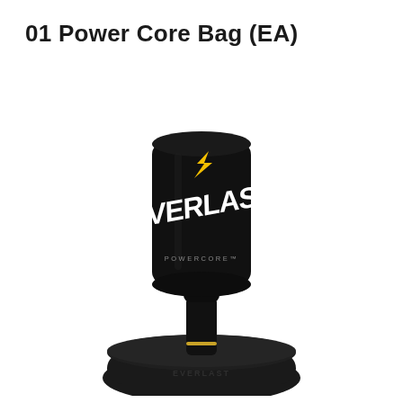01 Power Core Bag (EA)
[Figure (photo): Everlast PowerCore free-standing punching bag on a black pedestal base. The cylindrical black bag prominently displays the Everlast logo in white with a yellow lightning bolt emblem on top. The bag sits on a narrow black pole connected to a wide rounded black base.]